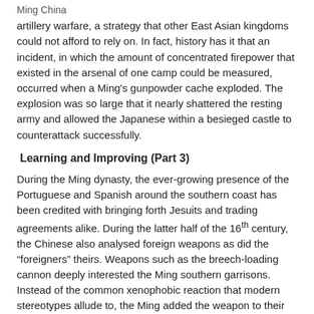Ming China
artillery warfare, a strategy that other East Asian kingdoms could not afford to rely on. In fact, history has it that an incident, in which the amount of concentrated firepower that existed in the arsenal of one camp could be measured, occurred when a Ming's gunpowder cache exploded. The explosion was so large that it nearly shattered the resting army and allowed the Japanese within a besieged castle to counterattack successfully.
Learning and Improving (Part 3)
During the Ming dynasty, the ever-growing presence of the Portuguese and Spanish around the southern coast has been credited with bringing forth Jesuits and trading agreements alike. During the latter half of the 16th century, the Chinese also analysed foreign weapons as did the “foreigners” theirs. Weapons such as the breech-loading cannon deeply interested the Ming southern garrisons. Instead of the common xenophobic reaction that modern stereotypes allude to, the Ming added the weapon to their arsenal in large quantities, often modifying them into hand cannons and larger guns.
[Figure (photo): Image of a Bird Gun with alt text placeholder]
Bird Gun